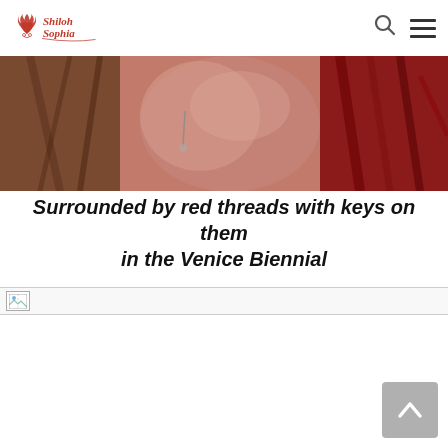Shiloh Sophia [logo navigation with search and menu icons]
[Figure (photo): Close-up painting/artwork showing a face near red textured background with warm brown and red tones]
Surrounded by red threads with keys on them in the Venice Biennial
[Figure (photo): Broken image placeholder below the title]
[Figure (other): Scroll-to-top button arrow in grey square at bottom right]